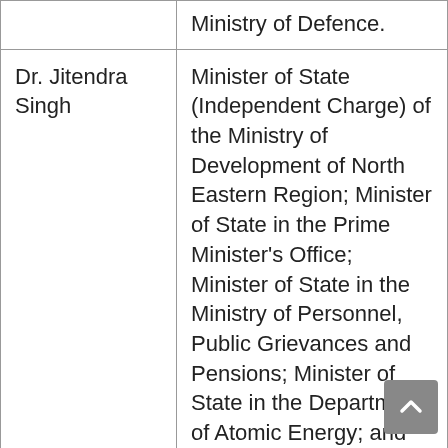|  | Ministry of Defence. |
| Dr. Jitendra Singh | Minister of State (Independent Charge) of the Ministry of Development of North Eastern Region; Minister of State in the Prime Minister's Office; Minister of State in the Ministry of Personnel, Public Grievances and Pensions; Minister of State in the Department of Atomic Energy; and Minister of State in the |